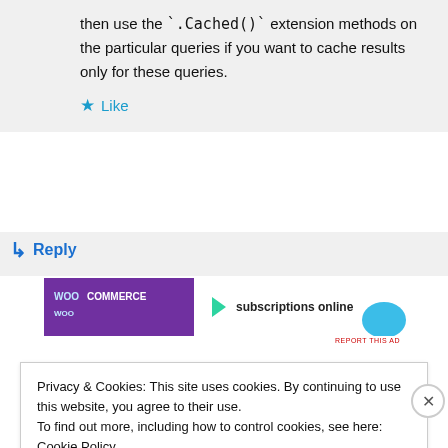then use the `.Cached()` extension methods on the particular queries if you want to cache results only for these queries.
Like
Reply
[Figure (screenshot): WooCommerce advertisement banner - subscriptions online]
REPORT THIS AD
Privacy & Cookies: This site uses cookies. By continuing to use this website, you agree to their use.
To find out more, including how to control cookies, see here: Cookie Policy
Close and accept